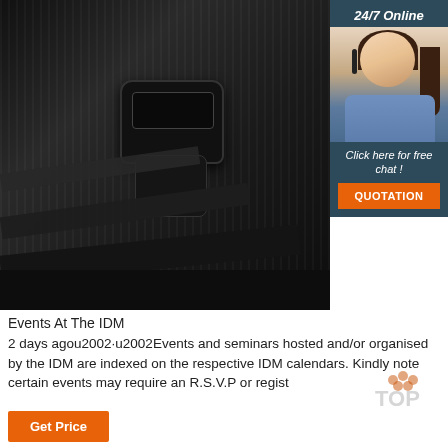[Figure (photo): Close-up photo of a black plastic buckle and strap; a chat widget overlay in the top-right shows a woman with headset, '24/7 Online' text, 'Click here for free chat!' text, and an orange QUOTATION button.]
Events At The IDM
2 days agou2002·u2002Events and seminars hosted and/or organised by the IDM are indexed on the respective IDM calendars. Kindly note certain events may require an R.S.V.P or registration
[Figure (logo): Semi-transparent orange and grey 'TOP' watermark logo]
Get Price